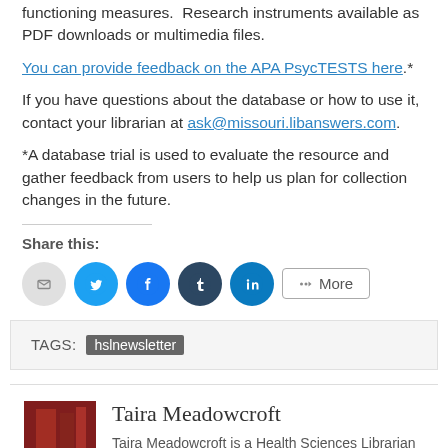functioning measures.  Research instruments available as PDF downloads or multimedia files.
You can provide feedback on the APA PsycTESTS here.*
If you have questions about the database or how to use it, contact your librarian at ask@missouri.libanswers.com.
*A database trial is used to evaluate the resource and gather feedback from users to help us plan for collection changes in the future.
Share this:
TAGS: hslnewsletter
Taira Meadowcroft
Taira Meadowcroft is a Health Sciences Librarian at the University of Missouri. She focuses on quality improvement, reference,